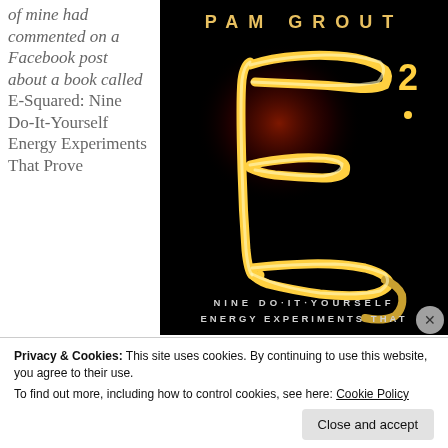of mine had commented on a Facebook post about a book called E-Squared: Nine Do-It-Yourself Energy Experiments That Prove...
[Figure (photo): Book cover of 'E-Squared' by Pam Grout. Black background with a glowing golden letter E with superscript 2, rendered in light-painting photography. Text reads: PAM GROUT at top, NINE DO-IT-YOURSELF ENERGY EXPERIMENTS THAT at bottom.]
Privacy & Cookies: This site uses cookies. By continuing to use this website, you agree to their use. To find out more, including how to control cookies, see here: Cookie Policy
Close and accept